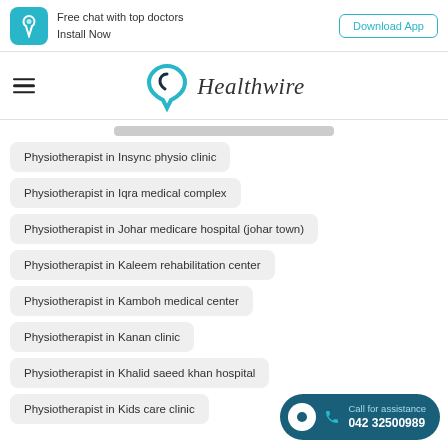[Figure (screenshot): Top app banner with Healthwire logo icon, 'Free chat with top doctors / Install Now' text, and 'Download App' button]
[Figure (logo): Healthwire logo with teal heart/leaf icon and italic 'Healthwire' text, hamburger menu on the left]
Physiotherapist in Insync physio clinic
Physiotherapist in Iqra medical complex
Physiotherapist in Johar medicare hospital (johar town)
Physiotherapist in Kaleem rehabilitation center
Physiotherapist in Kamboh medical center
Physiotherapist in Kanan clinic
Physiotherapist in Khalid saeed khan hospital
Physiotherapist in Kids care clinic
Call for assistance 042 32500989